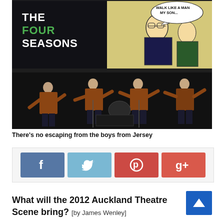[Figure (photo): Four male performers on stage in matching brown jackets performing Jersey Boys style show. Behind them a large projected screen shows 'The Four Seasons' text and a comic-book style illustration with speech bubble reading 'Walk like a man my son...']
There's no escaping from the boys from Jersey
[Figure (infographic): Social media sharing buttons: Facebook (blue), Twitter (light blue), Pinterest (red), Google+ (red-orange)]
What will the 2012 Auckland Theatre Scene bring? [by James Wenley]